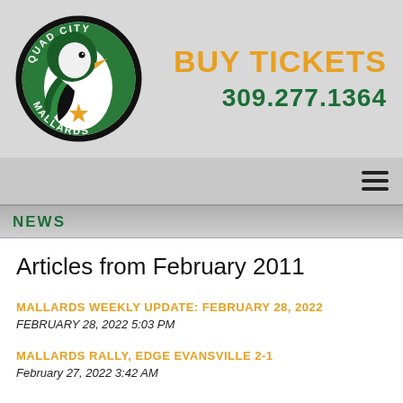[Figure (logo): Quad City Mallards hockey team logo — a mallard duck head with green and black circular text reading QUAD CITY MALLARDS with a gold star]
BUY TICKETS
309.277.1364
[Figure (other): Hamburger menu icon (three horizontal lines)]
NEWS
Articles from February 2011
MALLARDS WEEKLY UPDATE: FEBRUARY 28, 2022
FEBRUARY 28, 2022 5:03 PM
MALLARDS RALLY, EDGE EVANSVILLE 2-1
February 27, 2022 3:42 AM